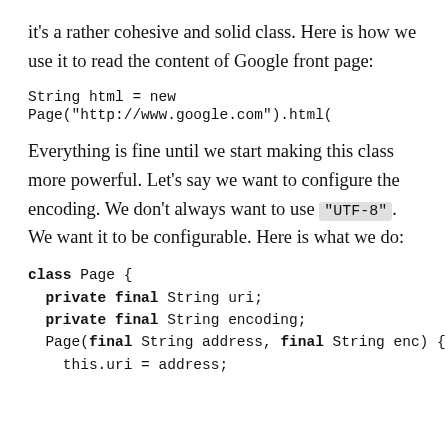it's a rather cohesive and solid class. Here is how we use it to read the content of Google front page:
String html = new Page("http://www.google.com").html(
Everything is fine until we start making this class more powerful. Let's say we want to configure the encoding. We don't always want to use "UTF-8". We want it to be configurable. Here is what we do:
class Page {
  private final String uri;
  private final String encoding;
  Page(final String address, final String enc) {
    this.uri = address;